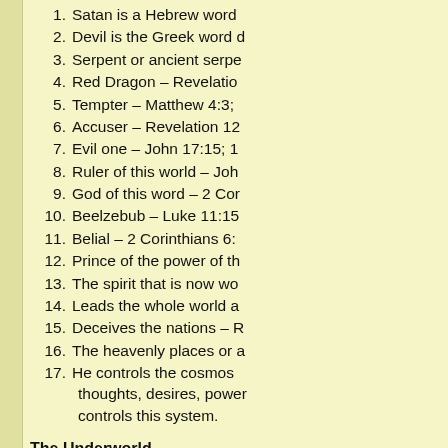1. Satan is a Hebrew word
2. Devil is the Greek word
3. Serpent or ancient serpe
4. Red Dragon – Revelatio
5. Tempter – Matthew 4:3;
6. Accuser – Revelation 12
7. Evil one – John 17:15; 1
8. Ruler of this world – Joh
9. God of this word – 2 Cor
10. Beelzebub – Luke 11:15
11. Belial – 2 Corinthians 6:
12. Prince of the power of th
13. The spirit that is now wo
14. Leads the whole world a
15. Deceives the nations – R
16. The heavenly places or a
17. He controls the cosmos thoughts, desires, power controls this system.
The Underworld
The below diagram is an atte The diagram shows:
1. The general locations an